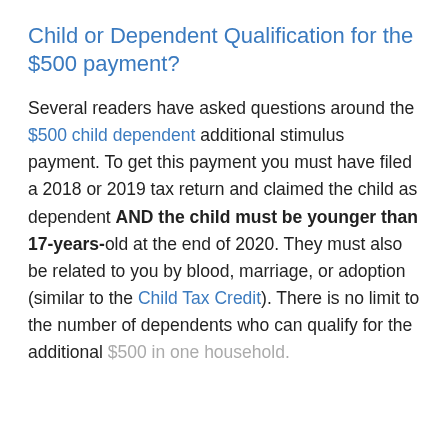Child or Dependent Qualification for the $500 payment?
Several readers have asked questions around the $500 child dependent additional stimulus payment. To get this payment you must have filed a 2018 or 2019 tax return and claimed the child as dependent AND the child must be younger than 17-years-old at the end of 2020. They must also be related to you by blood, marriage, or adoption (similar to the Child Tax Credit). There is no limit to the number of dependents who can qualify for the additional $500 in one household.